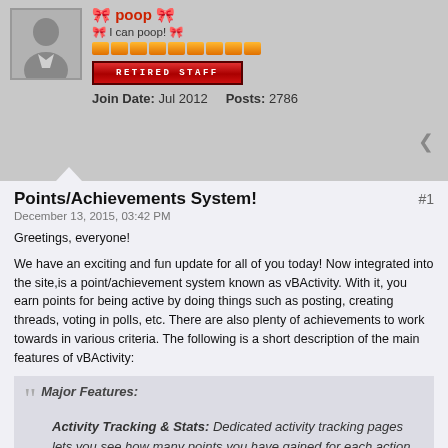[Figure (illustration): Forum user profile avatar - grey silhouette of a person]
🎀 I can poop! 🎀
[Figure (illustration): Orange reputation pips bar (9 pips)]
RETIRED STAFF
Join Date: Jul 2012    Posts: 2786
Points/Achievements System!
#1
December 13, 2015, 03:42 PM
Greetings, everyone!
We have an exciting and fun update for all of you today! Now integrated into the site,is a point/achievement system known as vBActivity. With it, you earn points for being active by doing things such as posting, creating threads, voting in polls, etc. There are also plenty of achievements to work towards in various criteria. The following is a short description of the main features of vBActivity:
Major Features:
Activity Tracking & Stats: Dedicated activity tracking pages lets you see how many points you have gained for each action, and a browseable archive of acquired activity points lets you see exactly when the points were gained.